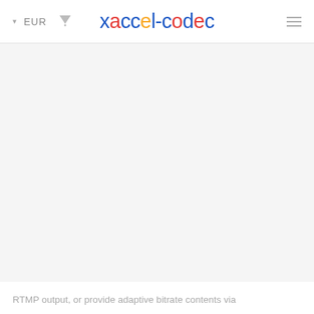EUR  xaccel-codec
RTMP output, or provide adaptive bitrate contents via